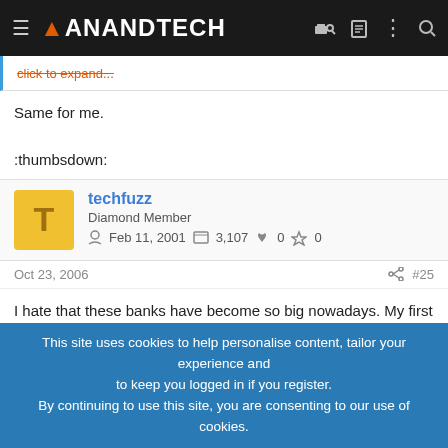AnandTech
click to expand...
Same for me.

:thumbsdown:
techfuzz
Diamond Member
Feb 11, 2001  3,107  0  0
Oct 23, 2006  #25
I hate that these banks have become so big nowadays. My first bank
This site uses cookies to help personalise content, tailor your experience and to keep you logged in if you register.
By continuing to use this site, you are consenting to our use of cookies.